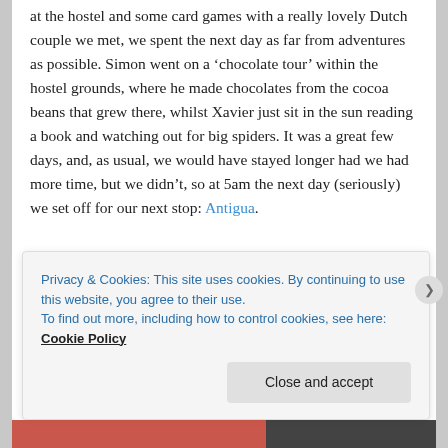at the hostel and some card games with a really lovely Dutch couple we met, we spent the next day as far from adventures as possible. Simon went on a 'chocolate tour' within the hostel grounds, where he made chocolates from the cocoa beans that grew there, whilst Xavier just sit in the sun reading a book and watching out for big spiders. It was a great few days, and, as usual, we would have stayed longer had we had more time, but we didn't, so at 5am the next day (seriously) we set off for our next stop: Antigua.
HOW WE GOT THERE
The practical details
Privacy & Cookies: This site uses cookies. By continuing to use this website, you agree to their use.
To find out more, including how to control cookies, see here: Cookie Policy